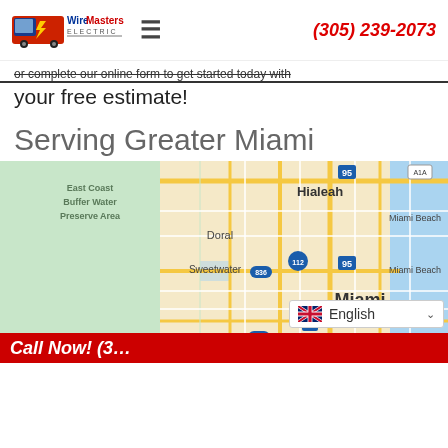[Figure (logo): WireMasters Electric logo with red van and company name]
≡
(305) 239-2073
or complete our online form to get started today with your free estimate!
Serving Greater Miami
[Figure (map): Google Maps view of Greater Miami area showing Hialeah, Doral, Sweetwater, Miami Beach, and Miami with highway markers 95, 112, 836, 826, 1, A1A]
English
Call Now! (3...